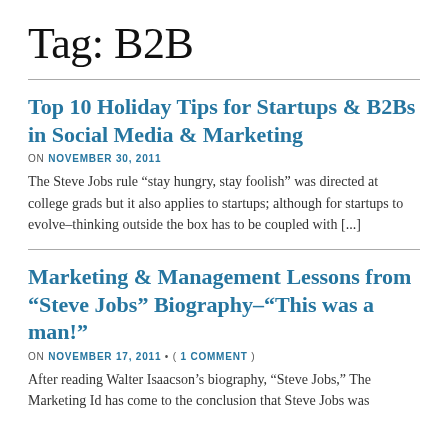Tag: B2B
Top 10 Holiday Tips for Startups & B2Bs in Social Media & Marketing
ON NOVEMBER 30, 2011
The Steve Jobs rule “stay hungry, stay foolish” was directed at college grads but it also applies to startups; although for startups to evolve–thinking outside the box has to be coupled with [...]
Marketing & Management Lessons from “Steve Jobs” Biography–“This was a man!”
ON NOVEMBER 17, 2011 • ( 1 COMMENT )
After reading Walter Isaacson’s biography, “Steve Jobs,” The Marketing Id has come to the conclusion that Steve Jobs was